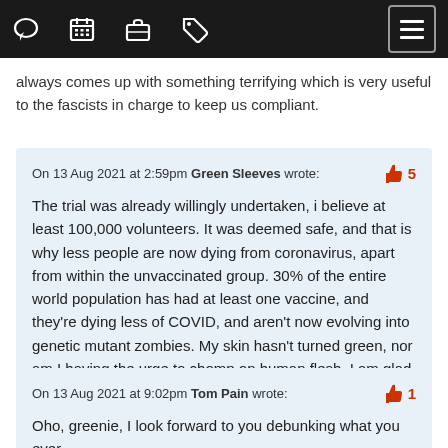[Navigation bar with icons: chat bubble, calendar, briefcase, tag, hamburger menu]
always comes up with something terrifying which is very useful to the fascists in charge to keep us compliant.
On 13 Aug 2021 at 2:59pm Green Sleeves wrote: [thumbs up] 5

The trial was already willingly undertaken, i believe at least 100,000 volunteers. It was deemed safe, and that is why less people are now dying from coronavirus, apart from within the unvaccinated group. 30% of the entire world population has had at least one vaccine, and they're dying less of COVID, and aren't now evolving into genetic mutant zombies. My skin hasn't turned green, nor am I having the urge to chomp on human flesh. I am glad I've been vaccinated twice. Didn't feel remotely guilt tripped into it. I guess I don't value my DNA as much as you do, Tom.
On 13 Aug 2021 at 9:02pm Tom Pain wrote: [thumbs up] 1

Oho, greenie, I look forward to you debunking what you ever